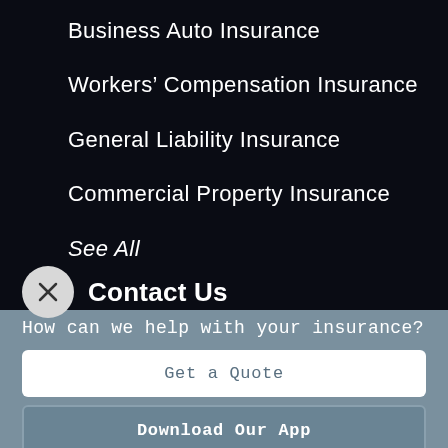Business Auto Insurance
Workers’ Compensation Insurance
General Liability Insurance
Commercial Property Insurance
See All
Contact Us
How can we help with your insurance?
Get a Quote
Download Our App